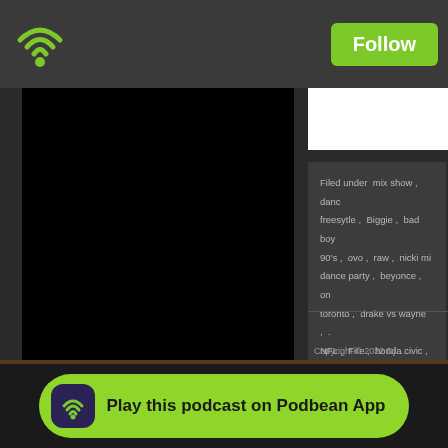[Figure (logo): Podbean WiFi/podcast logo icon — green WiFi symbol with dot on dark bar]
Follow
[Figure (photo): Large black rectangle album art or podcast cover image]
[Figure (screenshot): White rectangle partial view]
Filed under  mix show ,  danc freesytle ,  Biggie ,  bad boy 90's ,  ovo ,  raw ,  nicki mi dance party ,  beyonce ,  on toronto ,  drake vs wayne ,  . NFL ,  Fire ,  honda civic , Comments
Copyright © 2022 Dj ...
Play this podcast on Podbean App